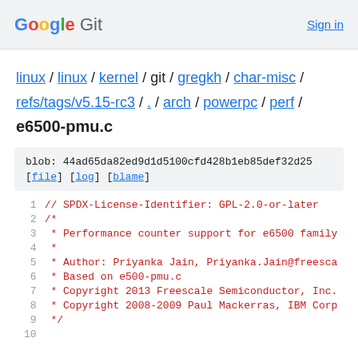Google Git   Sign in
linux / linux / kernel / git / gregkh / char-misc / refs/tags/v5.15-rc3 / . / arch / powerpc / perf /
e6500-pmu.c
blob: 44ad65da82ed9d1d5100cfd428b1eb85def32d25
[file] [log] [blame]
1  // SPDX-License-Identifier: GPL-2.0-or-later
2  /*
3   * Performance counter support for e6500 family
4   *
5   * Author: Priyanka Jain, Priyanka.Jain@freesca...
6   * Based on e500-pmu.c
7   * Copyright 2013 Freescale Semiconductor, Inc.
8   * Copyright 2008-2009 Paul Mackerras, IBM Corp...
9   */